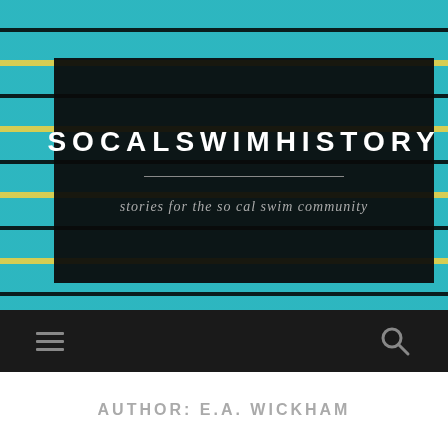[Figure (screenshot): Website header for SoCalSwimHistory blog showing a swimming pool aerial photo with black overlay box containing site title 'SOCALSWIMHISTORY' in bold white uppercase letters, a horizontal divider, and tagline 'stories for the so cal swim community' in gray italic text. Below is a dark navigation bar with hamburger menu icon on left and search icon on right.]
AUTHOR: E.A. WICKHAM